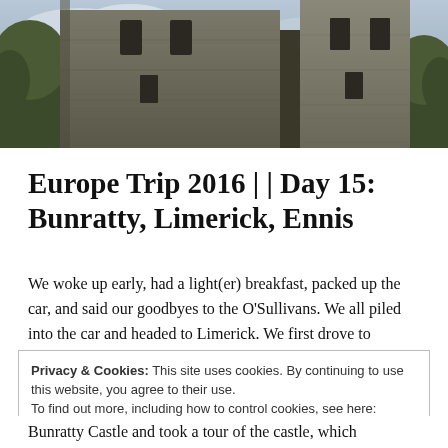[Figure (photo): Photograph of a stone castle tower with cloudy sky and trees visible at the sides. The castle has narrow window openings and rough stone masonry.]
Europe Trip 2016 | | Day 15: Bunratty, Limerick, Ennis
We woke up early, had a light(er) breakfast, packed up the car, and said our goodbyes to the O'Sullivans. We all piled into the car and headed to Limerick. We first drove to Glenstal Abbey and visited Marco (an old house) — but too many visitors to of his
Privacy & Cookies: This site uses cookies. By continuing to use this website, you agree to their use.
To find out more, including how to control cookies, see here: Cookie Policy
Bunratty Castle and took a tour of the castle, which